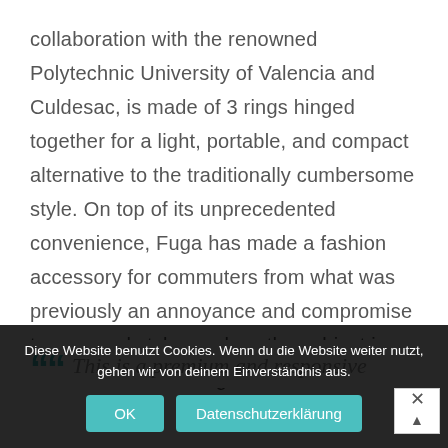collaboration with the renowned Polytechnic University of Valencia and Culdesac, is made of 3 rings hinged together for a light, portable, and compact alternative to the traditionally cumbersome style. On top of its unprecedented convenience, Fuga has made a fashion accessory for commuters from what was previously an annoyance and compromise to personal style – unless the subject is a “Tour de France refugee.”
“” This is a premium and responsive
Diese Website benutzt Cookies. Wenn du die Website weiter nutzt, gehen wir von deinem Einverständnis aus.